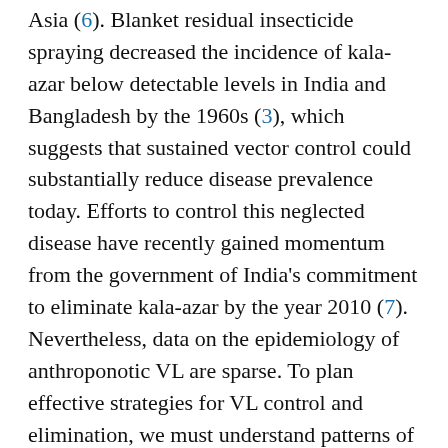Asia (6). Blanket residual insecticide spraying decreased the incidence of kala-azar below detectable levels in India and Bangladesh by the 1960s (3), which suggests that sustained vector control could substantially reduce disease prevalence today. Efforts to control this neglected disease have recently gained momentum from the government of India's commitment to eliminate kala-azar by the year 2010 (7). Nevertheless, data on the epidemiology of anthroponotic VL are sparse. To plan effective strategies for VL control and elimination, we must understand patterns of disease occurrence both at the community level and at broader geographic and ecologic levels. To elucidate the determinants at the community level, we studied spatial patterns and risk factors for kala-azar in a highly affected community in Bangladesh.